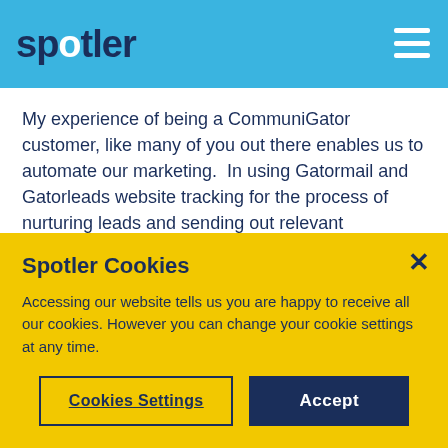spotler
My experience of being a CommuniGator customer, like many of you out there enables us to automate our marketing.  In using Gatormail and Gatorleads website tracking for the process of nurturing leads and sending out relevant automated campaigns to customers and prospects.
This is all very well but for automation to work to its
Spotler Cookies
Accessing our website tells us you are happy to receive all our cookies. However you can change your cookie settings at any time.
Cookies Settings | Accept